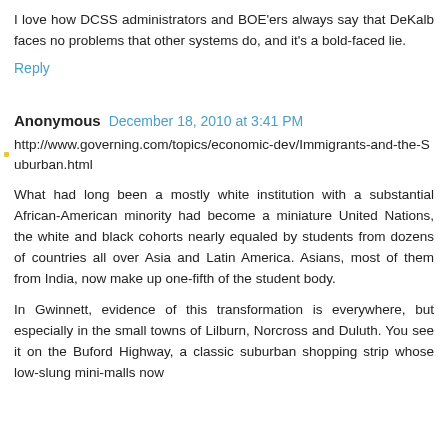I love how DCSS administrators and BOE'ers always say that DeKalb faces no problems that other systems do, and it's a bold-faced lie.
Reply
Anonymous  December 18, 2010 at 3:41 PM
http://www.governing.com/topics/economic-dev/Immigrants-and-the-Suburban.html
What had long been a mostly white institution with a substantial African-American minority had become a miniature United Nations, the white and black cohorts nearly equaled by students from dozens of countries all over Asia and Latin America. Asians, most of them from India, now make up one-fifth of the student body.
In Gwinnett, evidence of this transformation is everywhere, but especially in the small towns of Lilburn, Norcross and Duluth. You see it on the Buford Highway, a classic suburban shopping strip whose low-slung mini-malls now